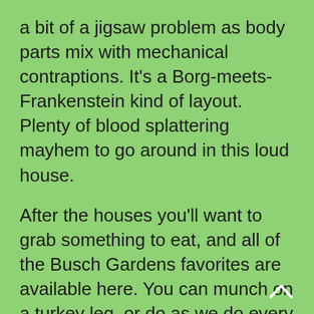a bit of a jigsaw problem as body parts mix with mechanical contraptions. It's a Borg-meets-Frankenstein kind of layout. Plenty of blood splattering mayhem to go around in this loud house.
After the houses you'll want to grab something to eat, and all of the Busch Gardens favorites are available here. You can munch on a turkey leg, or do as we do every year and grab a pizza-and-fries combo at the Crown Colony Restaurant. The price is actually quite